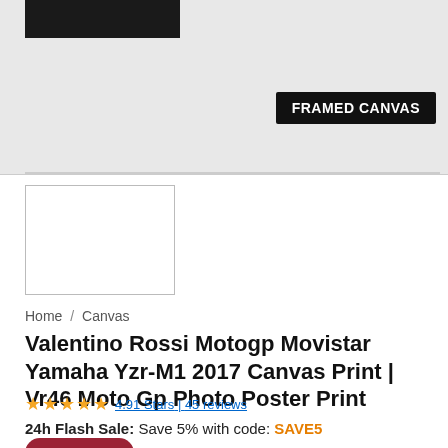[Figure (photo): Product image area showing a framed canvas print with a 'FRAMED CANVAS' badge label on a light grey background, with a black shape in the top-left corner]
[Figure (photo): Small white thumbnail image with border]
Home / Canvas
Valentino Rossi Motogp Movistar Yamaha Yzr-M1 2017 Canvas Print | Vr46 Moto Gp Photo Poster Print
4.91 Stars | 45 reviews
24h Flash Sale: Save 5% with code: SAVE5
SIZE GUIDE